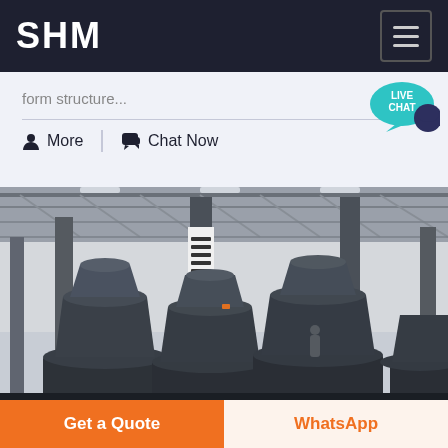SHM
form structure...
More   Chat Now
[Figure (photo): Industrial factory interior showing multiple large cone crusher machines arranged in a row inside a steel-frame warehouse with exposed roof trusses and overhead lighting.]
Get a Quote
WhatsApp